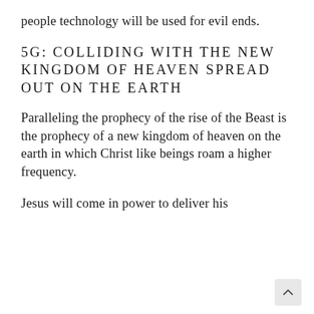people technology will be used for evil ends.
5G: COLLIDING WITH THE NEW KINGDOM OF HEAVEN SPREAD OUT ON THE EARTH
Paralleling the prophecy of the rise of the Beast is the prophecy of a new kingdom of heaven on the earth in which Christ like beings roam a higher frequency.
Jesus will come in power to deliver his